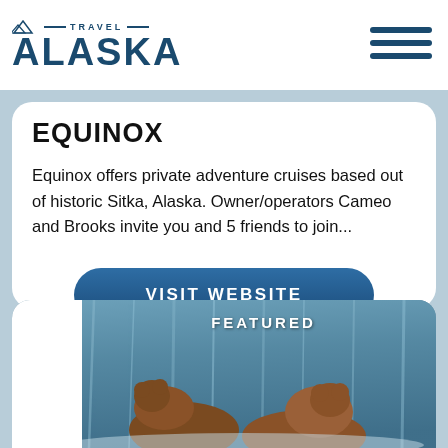[Figure (logo): Travel Alaska logo with mountain icon and text]
[Figure (other): Hamburger menu icon (three horizontal lines)]
EQUINOX
Equinox offers private adventure cruises based out of historic Sitka, Alaska. Owner/operators Cameo and Brooks invite you and 5 friends to join...
VISIT WEBSITE
[Figure (photo): Two brown bears at a waterfall with 'FEATURED' label overlay]